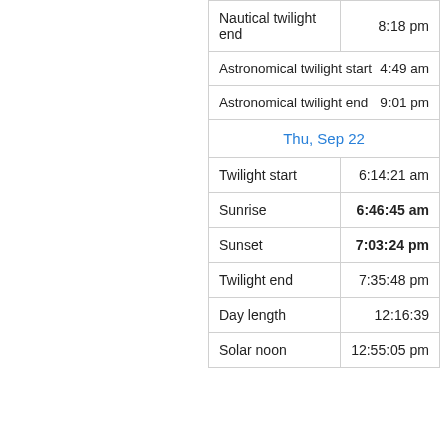| Event | Time |
| --- | --- |
| Nautical twilight end | 8:18 pm |
| Astronomical twilight start | 4:49 am |
| Astronomical twilight end | 9:01 pm |
| Thu, Sep 22 |  |
| Twilight start | 6:14:21 am |
| Sunrise | 6:46:45 am |
| Sunset | 7:03:24 pm |
| Twilight end | 7:35:48 pm |
| Day length | 12:16:39 |
| Solar noon | 12:55:05 pm |